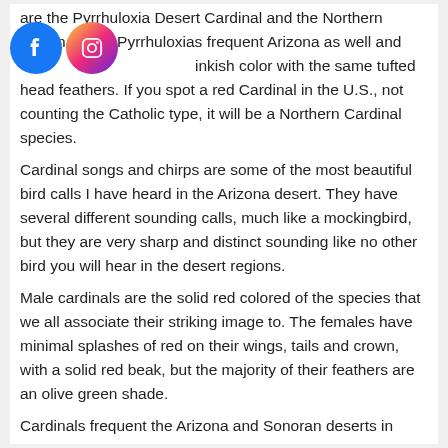are the Pyrrhuloxia Desert Cardinal and the Northern Cardinal. The Pyrrhuloxias frequent Arizona as well and [pinkish color with the same tufted head feathers. If you spot a red Cardinal in the U.S., not counting the Catholic type, it will be a Northern Cardinal species.
[Figure (logo): Facebook and Instagram social media icons side by side]
Cardinal songs and chirps are some of the most beautiful bird calls I have heard in the Arizona desert. They have several different sounding calls, much like a mockingbird, but they are very sharp and distinct sounding like no other bird you will hear in the desert regions.
Male cardinals are the solid red colored of the species that we all associate their striking image to. The females have minimal splashes of red on their wings, tails and crown, with a solid red beak, but the majority of their feathers are an olive green shade.
Cardinals frequent the Arizona and Sonoran deserts in winter and breed in the spring. Most of the Cardinals